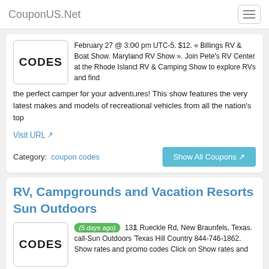CouponUS.Net
February 27 @ 3:00 pm UTC-5. $12. « Billings RV & Boat Show. Maryland RV Show ». Join Pete's RV Center at the Rhode Island RV & Camping Show to explore RVs and find the perfect camper for your adventures! This show features the very latest makes and models of recreational vehicles from all the nation's top
Visit URL
Category:  coupon codes
Show All Coupons
RV, Campgrounds and Vacation Resorts Sun Outdoors
(5 days ago) 131 Rueckle Rd, New Braunfels, Texas. call-Sun Outdoors Texas Hill Country 844-746-1862. Show rates and promo codes Click on Show rates and